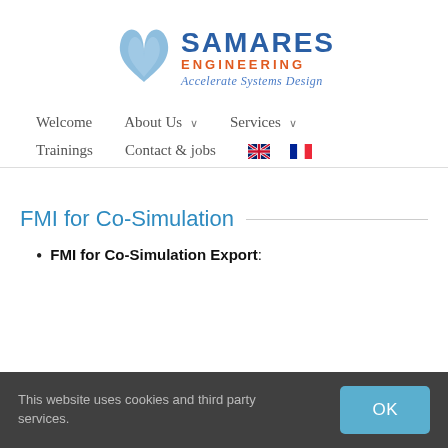[Figure (logo): Samares Engineering logo with blue wing/butterfly shape and text: SAMARES ENGINEERING, Accelerate Systems Design]
Welcome   About Us ∨   Services ∨
Trainings   Contact & jobs   [UK flag]   [FR flag]
FMI for Co-Simulation
FMI for Co-Simulation Export:
This website uses cookies and third party services.